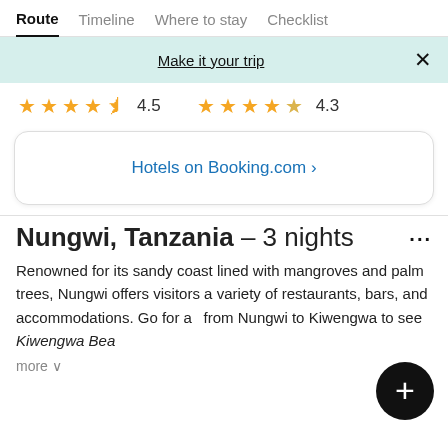Route  Timeline  Where to stay  Checklist
Make it your trip  ×
★★★★½ 4.5   ★★★★½ 4.3
Hotels on Booking.com ›
Nungwi, Tanzania – 3 nights  ...
Renowned for its sandy coast lined with mangroves and palm trees, Nungwi offers visitors a variety of restaurants, bars, and accommodations. Go for a walk from Nungwi to Kiwengwa to see Kiwengwa Beach
more ∨